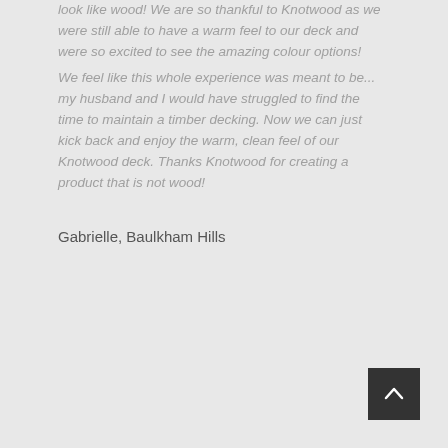look like wood! We are so thankful to Knotwood as we were still able to have a warm feel to our deck and were so excited to see the amazing colour options!
We feel like this whole experience was meant to be... my husband and I would have struggled to find the time to maintain a timber decking. Now we can just kick back and enjoy the warm, clean feel of our Knotwood deck. Thanks Knotwood for creating a product that is not wood!
Gabrielle, Baulkham Hills